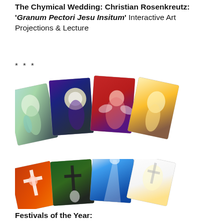The Chymical Wedding: Christian Rosenkreutz: 'Granum Pectori Jesu Insitum' Interactive Art Projections & Lecture
***
[Figure (illustration): Fan arrangement of eight spiritual/mystical paintings: top row shows four cards fanned out with colorful ethereal figures including angels, Christ-like figures in green, purple/dark, red, and yellow tones. Bottom row shows four more cards fanned out with cross/crucifixion themed paintings in orange, dark green, blue, and white/gold tones.]
Festivals of the Year: